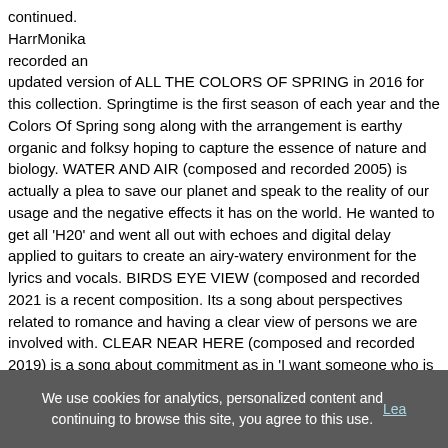continued. HarrMonika recorded an updated version of ALL THE COLORS OF SPRING in 2016 for this collection. Springtime is the first season of each year and the Colors Of Spring song along with the arrangement is earthy organic and folksy hoping to capture the essence of nature and biology. WATER AND AIR (composed and recorded 2005) is actually a plea to save our planet and speak to the reality of our usage and the negative effects it has on the world. He wanted to get all 'H20' and went all out with echoes and digital delay applied to guitars to create an airy-watery environment for the lyrics and vocals. BIRDS EYE VIEW (composed and recorded 2021 is a recent composition. Its a song about perspectives related to romance and having a clear view of persons we are involved with. CLEAR NEAR HERE (composed and recorded 2019) is a song about commitment as in 'I want someone who is near and when its you its clear.' Springtime always reminds us of new beginnings and new love. IT'S EASY (composed mid-1980's, recorded 2015) is a composition with a jazz ballad feel that's filled with anticipation and a little anxiety (won't u hang around go on and flirt why be alone cornered by hurt). CORAZON de SEDA/SILK HEART (composed and recorded 2020) influenced by my relationship with a Puerto Rican women, the culture, the
We use cookies for analytics, personalized content and continuing to browse this site, you agree to this use. Lea